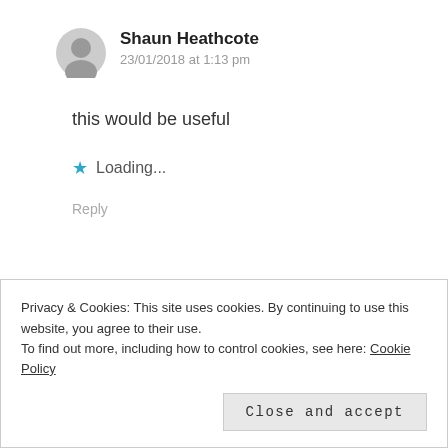Shaun Heathcote
23/01/2018 at 1:13 pm
this would be useful
★ Loading...
Reply
Privacy & Cookies: This site uses cookies. By continuing to use this website, you agree to their use.
To find out more, including how to control cookies, see here: Cookie Policy
Close and accept